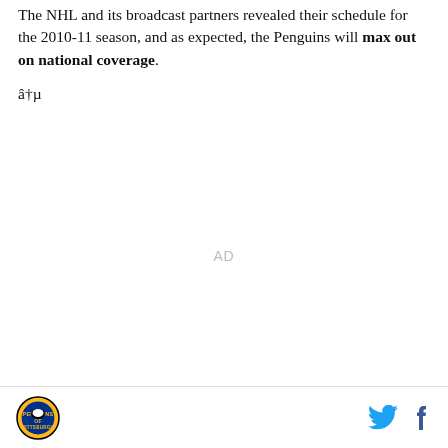The NHL and its broadcast partners revealed their schedule for the 2010-11 season, and as expected, the Penguins will max out on national coverage.
â†µ
AD
Pittsburgh Penguins logo | Twitter icon | Facebook icon